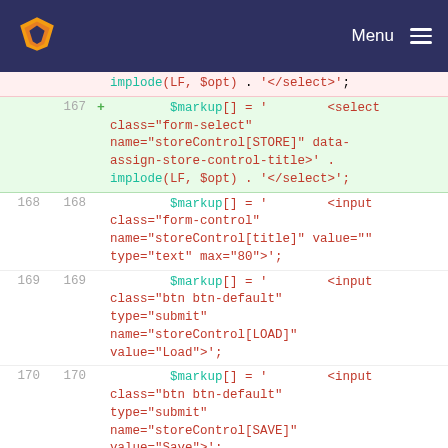Menu
implode(LF, $opt) . '</select>';
167 + $markup[] = '        <select class="form-select" name="storeControl[STORE]" data-assign-store-control-title>' . implode(LF, $opt) . '</select>';
168 168         $markup[] = '        <input class="form-control" name="storeControl[title]" value="" type="text" max="80">';
169 169         $markup[] = '        <input class="btn btn-default" type="submit" name="storeControl[LOAD]" value="Load">';
170 170         $markup[] = '        <input class="btn btn-default" type="submit" name="storeControl[SAVE]" value="Save">;